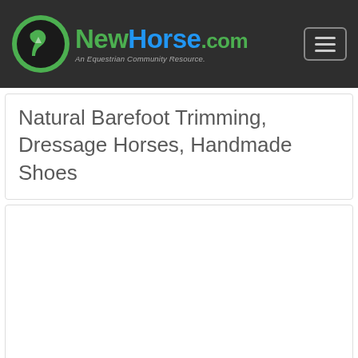[Figure (logo): NewHorse.com logo with horse icon circle and tagline 'An Equestrian Community Resource.']
Natural Barefoot Trimming, Dressage Horses, Handmade Shoes